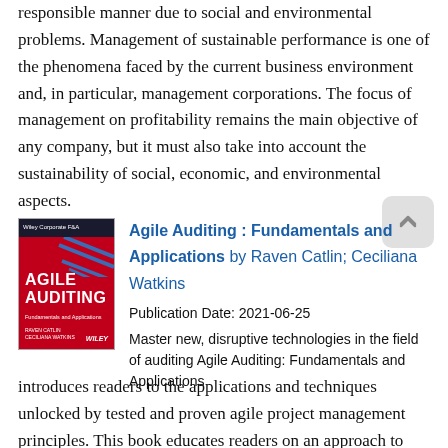responsible manner due to social and environmental problems. Management of sustainable performance is one of the phenomena faced by the current business environment and, in particular, management corporations. The focus of management on profitability remains the main objective of any company, but it must also take into account the sustainability of social, economic, and environmental aspects.
[Figure (illustration): Book cover of Agile Auditing: Fundamentals and Applications by Raven Catlin and Ceciliana Watkins, published by Wiley. Red cover with diagonal lines and white title text.]
Agile Auditing : Fundamentals and Applications by Raven Catlin; Ceciliana Watkins
Publication Date: 2021-06-25
Master new, disruptive technologies in the field of auditing Agile Auditing: Fundamentals and Applications introduces readers to the applications and techniques unlocked by tested and proven agile project management principles. This book educates readers on an approach to auditing that emphasizes risk-based auditing,